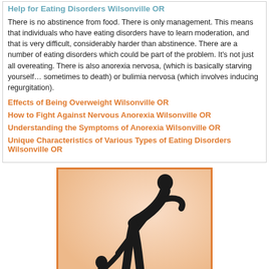Help for Eating Disorders Wilsonville OR
There is no abstinence from food. There is only management. This means that individuals who have eating disorders have to learn moderation, and that is very difficult, considerably harder than abstinence. There are a number of eating disorders which could be part of the problem. It’s not just all overeating. There is also anorexia nervosa, (which is basically starving yourself… sometimes to death) or bulimia nervosa (which involves inducing regurgitation).
Effects of Being Overweight Wilsonville OR
How to Fight Against Nervous Anorexia Wilsonville OR
Understanding the Symptoms of Anorexia Wilsonville OR
Unique Characteristics of Various Types of Eating Disorders Wilsonville OR
[Figure (illustration): Silhouette of a taller adult figure bending down and reaching out a hand to help a smaller figure (child) who is reaching upward, against a peach/orange gradient background, framed with an orange border.]